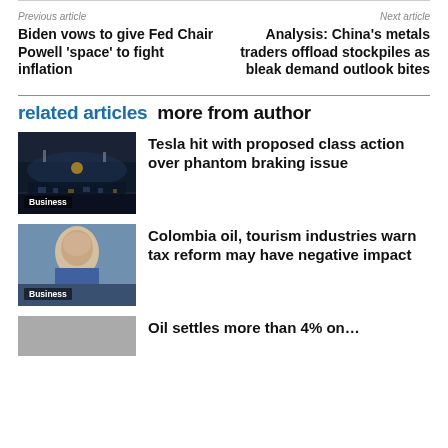Previous article
Next article
Biden vows to give Fed Chair Powell 'space' to fight inflation
Analysis: China's metals traders offload stockpiles as bleak demand outlook bites
related articles   more from author
[Figure (photo): Airplane cockpit at night with city lights, labeled Business]
Tesla hit with proposed class action over phantom braking issue
[Figure (photo): Portrait of a man in suit, labeled Business]
Colombia oil, tourism industries warn tax reform may have negative impact
[Figure (photo): Partial image at bottom, cut off]